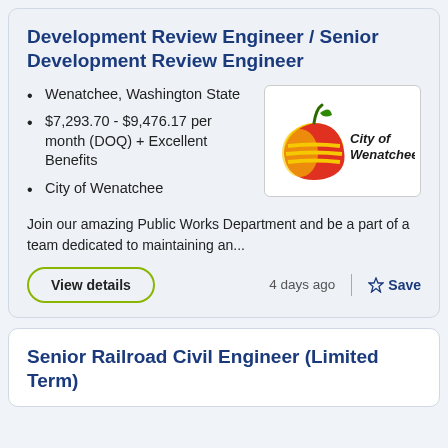Development Review Engineer / Senior Development Review Engineer
Wenatchee, Washington State
$7,293.70 - $9,476.17 per month (DOQ) + Excellent Benefits
City of Wenatchee
[Figure (logo): City of Wenatchee logo with apple graphic and text 'City of Wenatchee']
Join our amazing Public Works Department and be a part of a team dedicated to maintaining an...
View details
4 days ago
Save
Senior Railroad Civil Engineer (Limited Term)